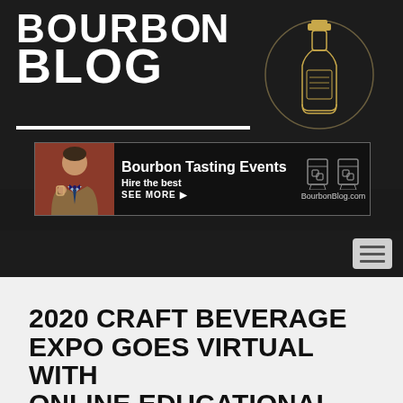[Figure (logo): Bourbon Blog logo with stylized text BOURBON BLOG and illustrated whiskey bottle with circle]
[Figure (photo): Advertisement banner: man in suit sipping bourbon, text Bourbon Tasting Events Hire the best SEE MORE BourbonBlog.com with whiskey glass icons]
[Figure (screenshot): Dark navigation bar with hamburger menu button on the right]
2020 CRAFT BEVERAGE EXPO GOES VIRTUAL WITH ONLINE EDUCATIONAL AND